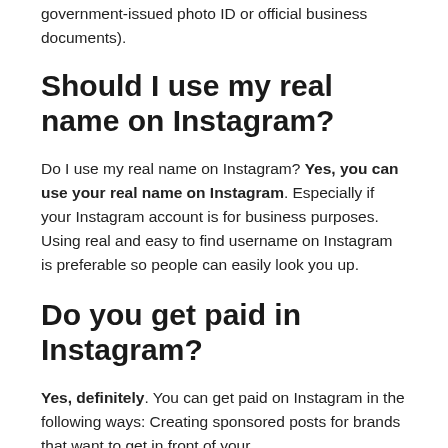government-issued photo ID or official business documents).
Should I use my real name on Instagram?
Do I use my real name on Instagram? Yes, you can use your real name on Instagram. Especially if your Instagram account is for business purposes. Using real and easy to find username on Instagram is preferable so people can easily look you up.
Do you get paid in Instagram?
Yes, definitely. You can get paid on Instagram in the following ways: Creating sponsored posts for brands that want to get in front of your